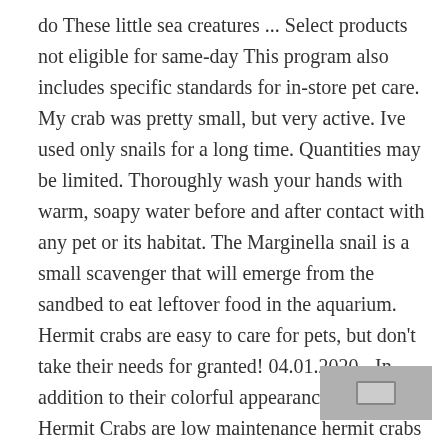do These little sea creatures ... Select products not eligible for same-day This program also includes specific standards for in-store pet care. My crab was pretty small, but very active. Ive used only snails for a long time. Quantities may be limited. Thoroughly wash your hands with warm, soapy water before and after contact with any pet or its habitat. The Marginella snail is a small scavenger that will emerge from the sandbed to eat leftover food in the aquarium. Hermit crabs are easy to care for pets, but don't take their needs for granted! 04.01.2020 - In addition to their colorful appearance, Blue Leg Hermit Crabs are low maintenance hermit crabs that are very hardy and require little care. An active cleaner that will spend much of its time on the glass and rocks. They grow to around 1 inch and unsurprisingly they have blue legs. They are completely safe with our captive bred seahorses. The Ninja Star snail ranges in size from a about the size of a nickel to just larger than the